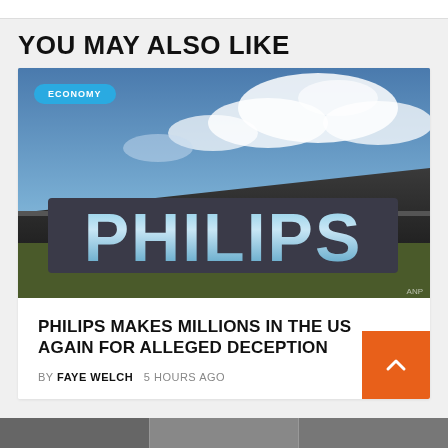YOU MAY ALSO LIKE
[Figure (photo): Philips building exterior with large blue PHILIPS sign on rooftop against a cloudy blue sky, with ECONOMY category badge overlay]
PHILIPS MAKES MILLIONS IN THE US AGAIN FOR ALLEGED DECEPTION
BY FAYE WELCH   5 HOURS AGO